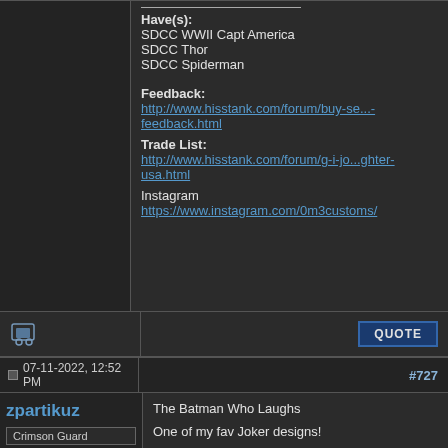Have(s):
SDCC WWII Capt America
SDCC Thor
SDCC Spiderman

Feedback:
http://www.hisstank.com/forum/buy-se...-feedback.html
Trade List:
http://www.hisstank.com/forum/g-i-jo...ghter-usa.html
Instagram
https://www.instagram.com/0m3customs/
07-11-2022, 12:52 PM
#727
zpartikuz
Crimson Guard
[Figure (photo): Avatar photo of a custom action figure in white coat with dark accessories]
The Batman Who Laughs

One of my fav Joker designs!

Head - 3ddios
Full fig - ROC CC
Skirt - Loki